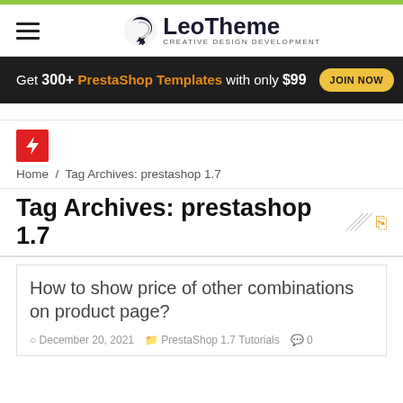[Figure (logo): LeoTheme logo with lion icon and tagline CREATIVE DESIGN DEVELOPMENT]
[Figure (infographic): Dark banner: Get 300+ PrestaShop Templates with only $99 JOIN NOW button]
[Figure (other): Red lightning bolt icon square]
Home / Tag Archives: prestashop 1.7
Tag Archives: prestashop 1.7
How to show price of other combinations on product page?
December 20, 2021  PrestaShop 1.7 Tutorials  0